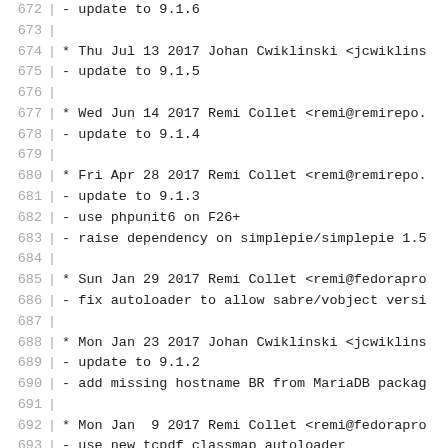672 - update to 9.1.6
673 
674 * Thu Jul 13 2017 Johan Cwiklinski <jcwiklins
675 - update to 9.1.5
676 
677 * Wed Jun 14 2017 Remi Collet <remi@remirepo.
678 - update to 9.1.4
679 
680 * Fri Apr 28 2017 Remi Collet <remi@remirepo.
681 - update to 9.1.3
682 - use phpunit6 on F26+
683 - raise dependency on simplepie/simplepie 1.5
684 
685 * Sun Jan 29 2017 Remi Collet <remi@fedorapro
686 - fix autoloader to allow sabre/vobject versi
687 
688 * Mon Jan 23 2017 Johan Cwiklinski <jcwiklins
689 - update to 9.1.2
690 - add missing hostname BR from MariaDB packag
691 
692 * Mon Jan  9 2017 Remi Collet <remi@fedorapro
693 - use new tcpdf classmap autoloader
694 
695 * Tue Nov 15 2016 Remi Collet <remi@fedorapro
696 - update to 9.1.1
697 - drop runtime dependency on guzzlehttp/guzzl
698 
699 * Wed Sep 28 2016 Remi Collet <remi@fedorapro
700 - missing API documentation
701